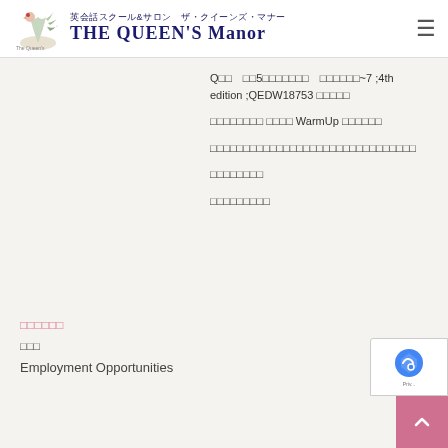英会話スクール&サロン　ザ・クイーンズ・マナー THE QUEEN'S Manor
Q□□　□□5□□□□□□□　□□□□□□~7 ;4th edition ;QEDW18753 □□□□□
□□□□□□□□ □□□□ WarmUp □□□□□□
□□□□□□□□□□□□□□□□□□□□□□□□□□□□□□□
□□□□□□□□
□□□□□□□□□
□□□□□□
□□□
Employment Opportunities